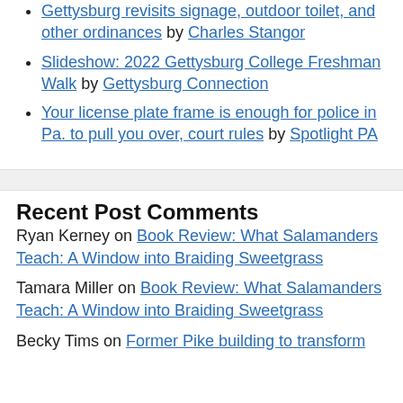Gettysburg revisits signage, outdoor toilet, and other ordinances by Charles Stangor
Slideshow: 2022 Gettysburg College Freshman Walk by Gettysburg Connection
Your license plate frame is enough for police in Pa. to pull you over, court rules by Spotlight PA
Recent Post Comments
Ryan Kerney on Book Review: What Salamanders Teach: A Window into Braiding Sweetgrass
Tamara Miller on Book Review: What Salamanders Teach: A Window into Braiding Sweetgrass
Becky Tims on Former Pike building to transform